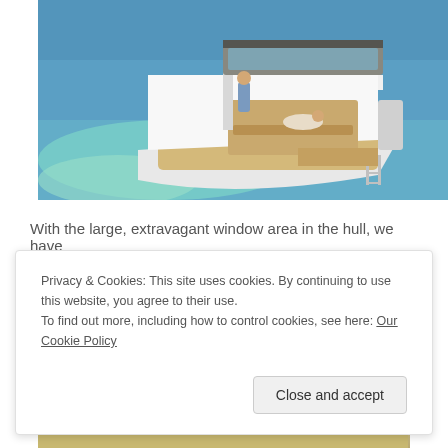[Figure (photo): Aerial view of a white motorboat/yacht on turquoise blue water. Two people are visible on the boat's rear deck. The boat has a white hull, beige/tan interior seating area, and a swim ladder at the stern.]
With the large, extravagant window area in the hull, we have
Privacy & Cookies: This site uses cookies. By continuing to use this website, you agree to their use.
To find out more, including how to control cookies, see here: Our Cookie Policy
Close and accept
[Figure (photo): Partial view of another boat, showing the bottom portion — visible are gold/tan colored hull sections.]